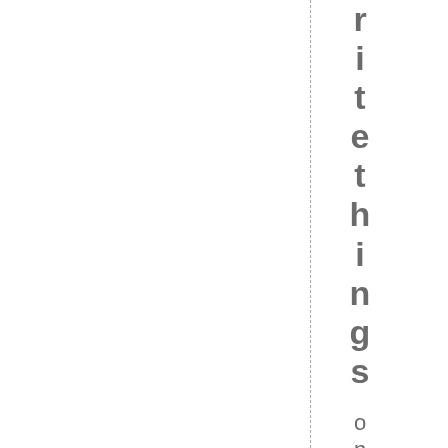r i t e t h i n g s  o n e o f
[Figure (other): Dashed vertical line running top to bottom of the page]